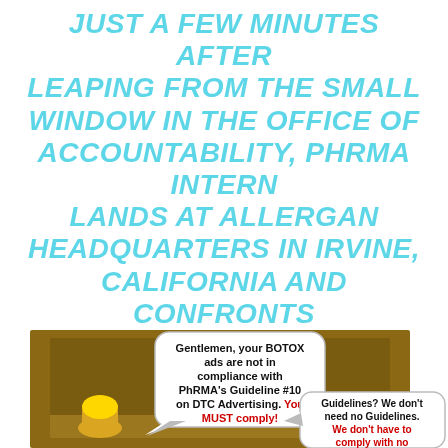JUST A FEW MINUTES AFTER LEAPING FROM THE SMALL WINDOW IN THE OFFICE OF ACCOUNTABILITY, PHRMA INTERN LANDS AT ALLERGAN HEADQUARTERS IN IRVINE, CALIFORNIA AND CONFRONTS ALLERGAN'S EXECUTIVE COMMITTEE (AND CORPORATE COUNSEL)…
[Figure (illustration): Comic strip panel showing a character confronting suited executives at Allergan. Speech bubbles: Character says 'Gentlemen, your BOTOX ads are not in compliance with PhRMA's Guideline #10 on DTC Advertising. You MUST comply!' (with 'You MUST comply!' in red). Executive responds 'Guidelines? We don't need no Guidelines. We don't have to comply with no' (text cut off, also partially in red).]